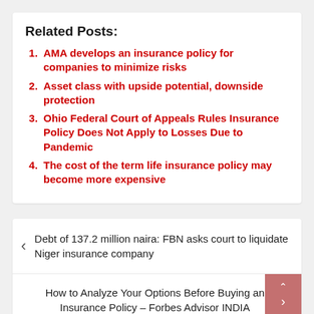Related Posts:
AMA develops an insurance policy for companies to minimize risks
Asset class with upside potential, downside protection
Ohio Federal Court of Appeals Rules Insurance Policy Does Not Apply to Losses Due to Pandemic
The cost of the term life insurance policy may become more expensive
Debt of 137.2 million naira: FBN asks court to liquidate Niger insurance company
How to Analyze Your Options Before Buying an Insurance Policy – Forbes Advisor INDIA